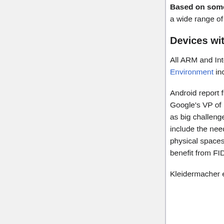Based on some level of hardware support at the user site, there are a wide range of possible solutions
Devices with Secure Enclave
All ARM and Intel CPUs now have some sort of Trusted Execution Environment included on chip.
Android report from Authenticate 2021-10-19 - Dave Kleidermacher, Google's VP of Engineering for Android Security outlined what he sees as big challenges of digital safety during his keynote. Those challenges include the need to have simple, strong access control over digital and physical spaces and identity. That's where he sees digital wallets that benefit from FIDO specifications as being a big help.
Kleidermacher explained that Android